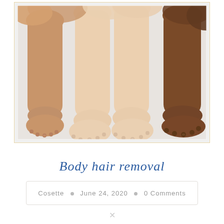[Figure (photo): Photo of multiple people's legs and feet of various skin tones arranged together on a light background, showing diversity in skin color]
[Figure (infographic): Three circular social media icons: Facebook (f), Twitter (bird), and Pinterest (p) in a warm brownish-orange color]
Body hair removal
Cosette • June 24, 2020 • 0 Comments